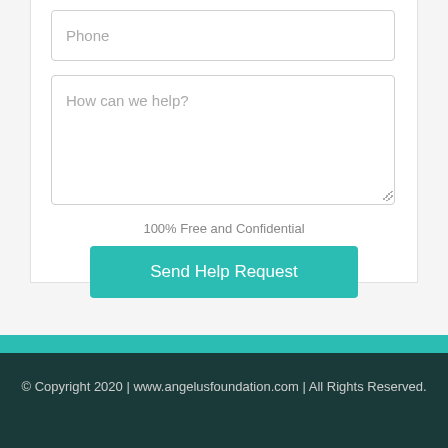Phone
How can we help?
100% Free and Confidential
Send Help Request
© Copyright 2020 | www.angelusfoundation.com | All Rights Reserved.